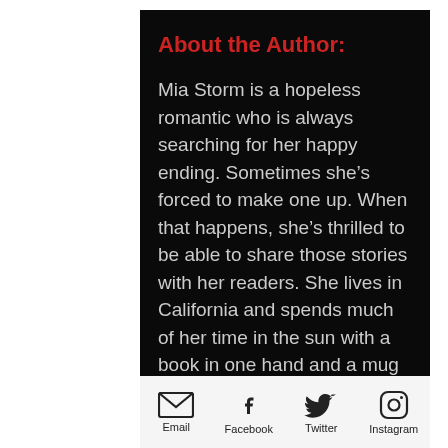About the Author:
Mia Storm is a hopeless romantic who is always searching for her happy ending. Sometimes she’s forced to make one up. When that happens, she’s thrilled to be able to share those stories with her readers. She lives in California and spends much of her time in the sun with a book in one hand and a mug of black coffee in the other, or hiking the trails in Yosemite.
Connect with her online at MiaStormAuthor.blogspot.com or
Email  Facebook  Twitter  Instagram